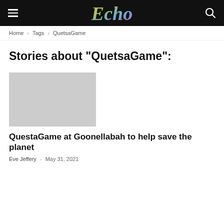Echo
Home › Tags › QuetsaGame
Stories about "QuetsaGame":
[Figure (photo): Thumbnail image placeholder for article about QuestaGame at Goonellabah]
QuestaGame at Goonellabah to help save the planet
Eve Jeffery – May 31, 2021